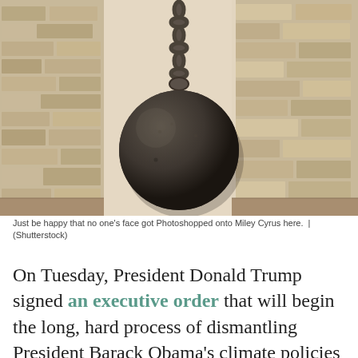[Figure (photo): A large dark iron wrecking ball hanging from a chain in front of a brick wall. The ball is spherical and dark gray/black, suspended by heavy chain links against a beige/tan brick wall background.]
Just be happy that no one's face got Photoshopped onto Miley Cyrus here. | (Shutterstock)
On Tuesday, President Donald Trump signed an executive order that will begin the long, hard process of dismantling President Barack Obama's climate policies — including, most prominently, the